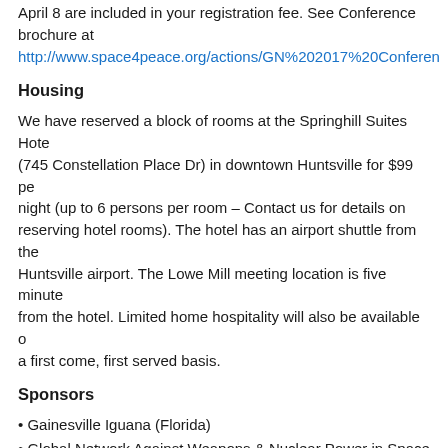April 8 are included in your registration fee. See Conference brochure at http://www.space4peace.org/actions/GN%202017%20Conferen
Housing
We have reserved a block of rooms at the Springhill Suites Hotel (745 Constellation Place Dr) in downtown Huntsville for $99 per night (up to 6 persons per room – Contact us for details on reserving hotel rooms). The hotel has an airport shuttle from the Huntsville airport. The Lowe Mill meeting location is five minutes from the hotel. Limited home hospitality will also be available on a first come, first served basis.
Sponsors
Gainesville Iguana (Florida)
Global Network Against Weapons & Nuclear Power in Space
Greater Brunswick (Maine) PeaceWorks